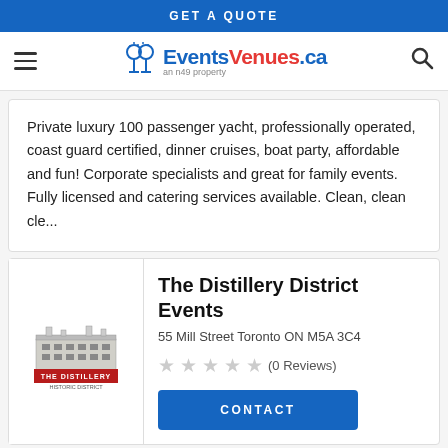GET A QUOTE
[Figure (logo): EventsVenues.ca logo with wine glasses icon and 'an n49 property' tagline]
Private luxury 100 passenger yacht, professionally operated, coast guard certified, dinner cruises, boat party, affordable and fun! Corporate specialists and great for family events. Fully licensed and catering services available. Clean, clean cle...
[Figure (logo): The Distillery District logo - building illustration with red banner]
The Distillery District Events
55 Mill Street Toronto ON M5A 3C4
(0 Reviews)